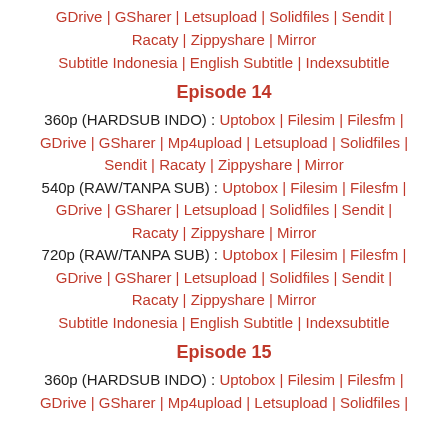GDrive | GSharer | Letsupload | Solidfiles | Sendit | Racaty | Zippyshare | Mirror Subtitle Indonesia | English Subtitle | Indexsubtitle
Episode 14
360p (HARDSUB INDO) : Uptobox | Filesim | Filesfm | GDrive | GSharer | Mp4upload | Letsupload | Solidfiles | Sendit | Racaty | Zippyshare | Mirror
540p (RAW/TANPA SUB) : Uptobox | Filesim | Filesfm | GDrive | GSharer | Letsupload | Solidfiles | Sendit | Racaty | Zippyshare | Mirror
720p (RAW/TANPA SUB) : Uptobox | Filesim | Filesfm | GDrive | GSharer | Letsupload | Solidfiles | Sendit | Racaty | Zippyshare | Mirror
Subtitle Indonesia | English Subtitle | Indexsubtitle
Episode 15
360p (HARDSUB INDO) : Uptobox | Filesim | Filesfm | GDrive | GSharer | Mp4upload | Letsupload | Solidfiles |